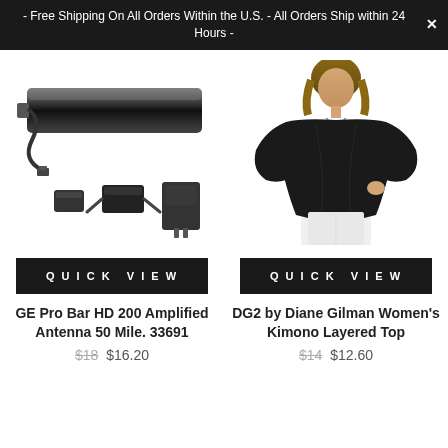- Free Shipping On All Orders Within the U.S. - All Orders Ship within 24 Hours -
[Figure (photo): GE Pro Bar HD 200 Amplified Antenna 50 Mile product photo showing flat bar antenna and accessories including cable and power adapter]
QUICK VIEW
GE Pro Bar HD 200 Amplified Antenna 50 Mile. 33691
$18 $16.20
[Figure (photo): DG2 by Diane Gilman Women's Kimono Layered Top product photo showing a woman wearing a black flowing kimono top with white pants]
QUICK VIEW
DG2 by Diane Gilman Women's Kimono Layered Top
$14 $12.60